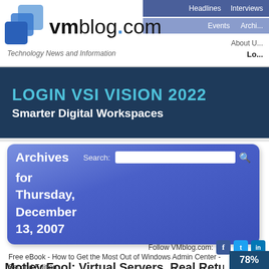VMblog.com - Technology News and Information
Headlines  Interviews  Events  Archives  About Us  Login
LOGIN VSI VISION 2022
Smarter Digital Workspaces
Archives for Thursday, December 13, 2007
Search:
Follow VMblog.com:
Free eBook - How to Get the Most Out of Windows Admin Center - Second Edition
Motley Fool: Virtual Servers, Real Returns